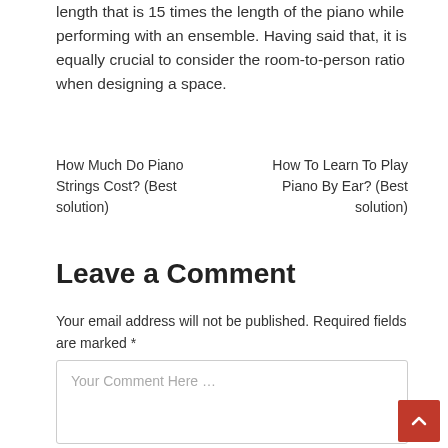length that is 15 times the length of the piano while performing with an ensemble. Having said that, it is equally crucial to consider the room-to-person ratio when designing a space.
How Much Do Piano Strings Cost? (Best solution)
How To Learn To Play Piano By Ear? (Best solution)
Leave a Comment
Your email address will not be published. Required fields are marked *